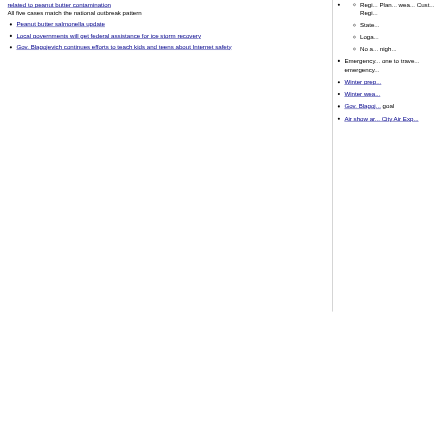All five cases match the national outbreak pattern
Peanut butter salmonella update
Local governments will get federal assistance for ice storm recovery
Gov. Blagojevich continues efforts to teach kids and teens about Internet safety
Emergency... one to travel... emergency...
Winter prep...
Winter wea...
Gov. Blagoj... goal
Air show ar... City Air Exp...
News | Sports | Business | Rural Review | Teaching & Learning | Home a... Community | Perspectives | Law & Courts | Leisure Time | Spiritual Life... Calendar | Letters to the Editor